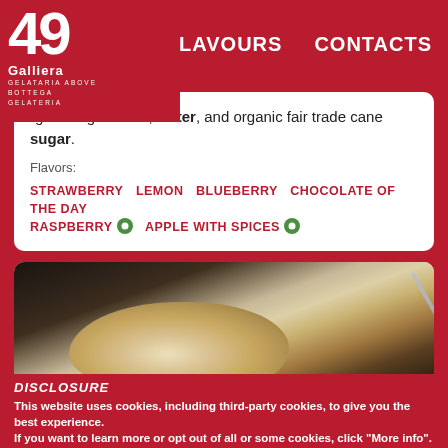49 Galliera GELATARIA BOTTEGA GELATERIA | SHOP | FLAVOURS | CONTACTS
organic ingredients, water, and organic fair trade cane sugar.
Flavors:
STRAWBERRY  LEMON  BLUEBERRY  CHOCOLATE OF THE DAY  RASPBERRY [eco]  APPLE WITH SPICES [eco]
[Figure (photo): Close-up photo of ice cream being scooped with a metal scoop from a container]
DISCLOSURE
This website uses cookies, including third-party cookies, to give you the best experience.
If you want to learn more or opt out of all or some cookies, click "More info".
By closing this banner, scrolling this page or by clicking any of its